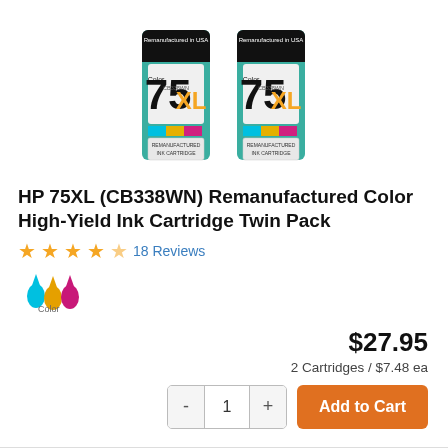[Figure (photo): Two HP 75XL (CB338WN) Remanufactured Color High-Yield Ink Cartridges side by side. Both are teal/green colored cartridges labeled 'Remanufactured in USA', with '75 XL Color CB338WN' branding and a cyan/magenta/yellow stripe near the bottom.]
HP 75XL (CB338WN) Remanufactured Color High-Yield Ink Cartridge Twin Pack
★★★★☆ 18 Reviews
[Figure (illustration): Color ink drop icons in cyan, magenta/yellow/blue representing ink colors. Labeled 'Color' underneath.]
$27.95
2 Cartridges / $7.48 ea
- 1 + Add to Cart